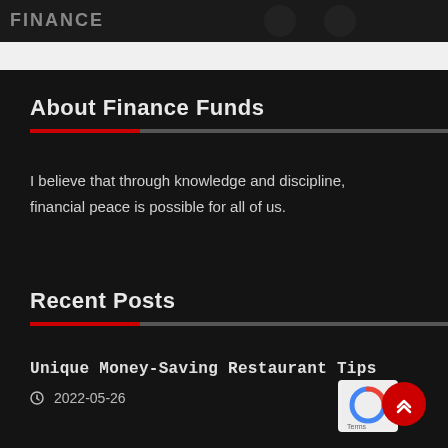[Figure (photo): Dark banner image strip at the top of the page with partial text/logo visible]
About Finance Funds
I believe that through knowledge and discipline, financial peace is possible for all of us.
Recent Posts
Unique Money-Saving Restaurant Tips
2022-05-26